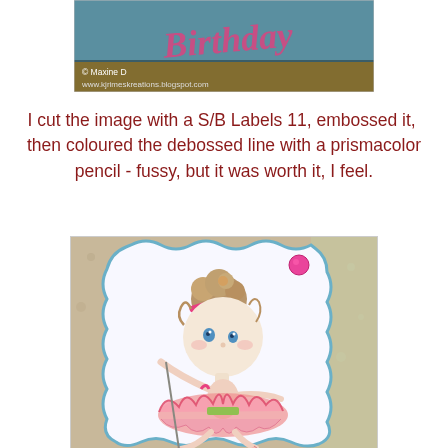[Figure (photo): Top cropped photo showing a birthday card with text 'Happy Birthday' and copyright 'Maxine D www.kjrimeskreations.blogspot.com' on a teal/yellow card background]
I cut the image with a S/B Labels 11, embossed it,  then coloured the debossed line with a prismacolor pencil - fussy, but it was worth it, I feel.
[Figure (photo): Photo of a handmade birthday card featuring a cute illustrated ballerina girl with pink tutu, pink headband, and brown curly hair, on a white scalloped label shape with blue border, with a pink sequin in the top right corner, patterned paper background visible around the edges]